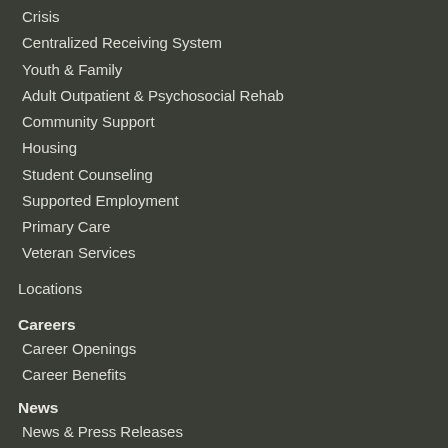Crisis
Centralized Receiving System
Youth & Family
Adult Outpatient & Psychosocial Rehab
Community Support
Housing
Student Counseling
Supported Employment
Primary Care
Veteran Services
Locations
Careers
Career Openings
Career Benefits
News
News & Press Releases
Newsletter
Events